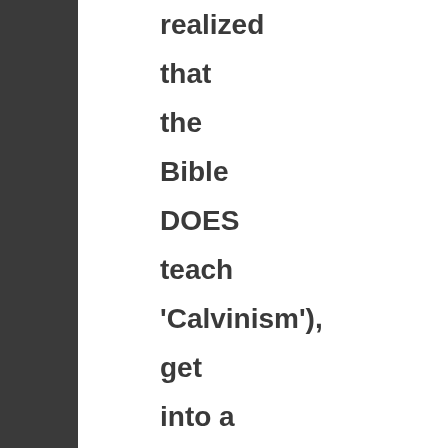realized that the Bible DOES teach 'Calvinism'), get into a consistently reformed church ASAP (PCA, OPC, reformed baptist....in that order would be my preferences)